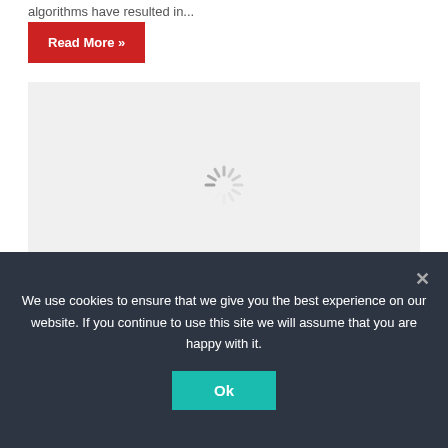algorithms have resulted in...
Read More »
[Figure (other): Loading spinner / image placeholder with a spinning loader icon in the center and a red Money badge in the bottom right corner]
admin  32 mins ago  0
Six ways to make money from your
We use cookies to ensure that we give you the best experience on our website. If you continue to use this site we will assume that you are happy with it.
Ok